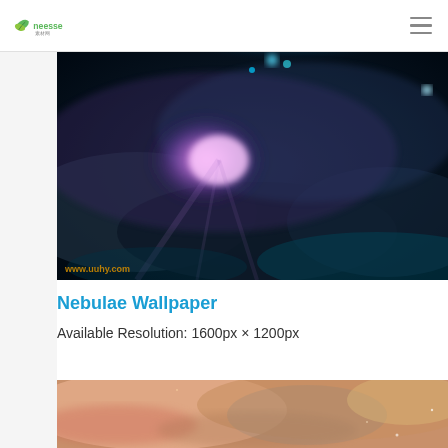Neesso logo and hamburger menu
[Figure (photo): Nebulae digital art wallpaper showing swirling cosmic clouds in dark blue and cyan with a bright pink/purple light burst in the center. Watermark: www.uuhy.com]
Nebulae Wallpaper
Available Resolution: 1600px × 1200px
[Figure (photo): Second nebulae wallpaper showing warm-toned cosmic gas clouds in pink, orange and gold tones with small star points.]